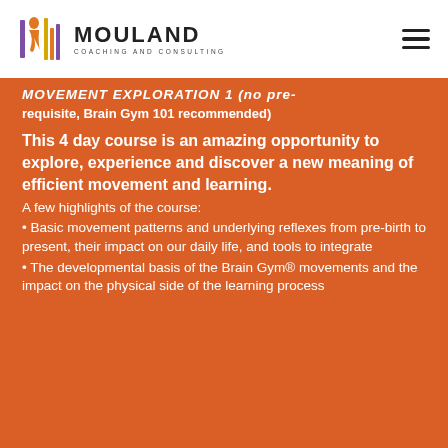MOULAND COACHING AND CONSULTING
MOVEMENT EXPLORATION 1 (no pre-requisite, Brain Gym 101 recommended)
This 4 day course is an amazing opportunity to explore, experience and discover a new meaning of efficient movement and learning.
A few highlights of the course:
• Basic movement patterns and underlying reflexes from pre-birth to present, their impact on our daily life, and tools to integrate
• The developmental basis of the Brain Gym® movements and the impact on the physical side of the learning process